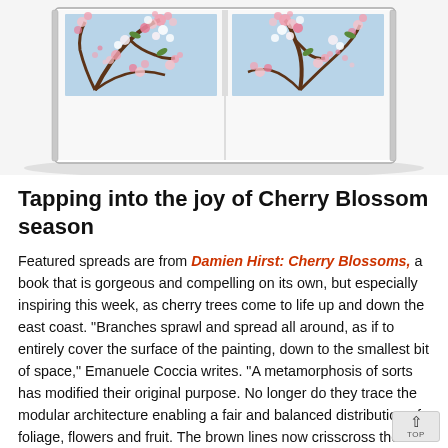[Figure (photo): Open book showing two page spreads of Damien Hirst cherry blossom paintings — colorful pink and white blossoms on dark branches against a light blue background, photographed from above showing the book spine.]
Tapping into the joy of Cherry Blossom season
Featured spreads are from Damien Hirst: Cherry Blossoms, a book that is gorgeous and compelling on its own, but especially inspiring this week, as cherry trees come to life up and down the east coast. "Branches sprawl and spread all around, as if to entirely cover the surface of the painting, down to the smallest bit of space," Emanuele Coccia writes. "A metamorphosis of sorts has modified their original purpose. No longer do they trace the modular architecture enabling a fair and balanced distribution of foliage, flowers and fruit. The brown lines now crisscross the canvas like the bones and sinews of some flying beast, magnetizing the most motley shapes and hues so as to aggregate, couple, support and prevent them from falling, from disappearing